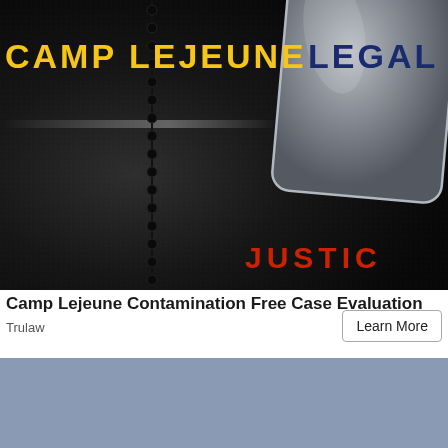[Figure (illustration): Advertisement banner image showing military dog tags on dark leather-textured background with black bead chain. Text reads 'CAMP LEJEUNE LEGAL' in large letters (yellow and dark blue) and 'JUSTIC' (partially visible) in red at the bottom right.]
Camp Lejeune Contamination Free Case Evaluation
Trulaw
Learn More
[Figure (other): Solid blue-gray rectangle filling the bottom portion of the page.]